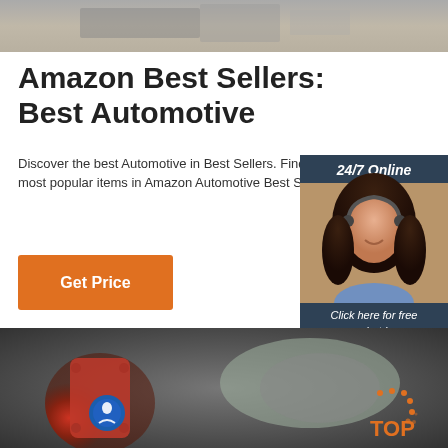[Figure (photo): Top cropped photo showing a metallic/mechanical object on a grey surface]
Amazon Best Sellers: Best Automotive
Discover the best Automotive in Best Sellers. Find the top 100 most popular items in Amazon Automotive Best Sellers.
[Figure (infographic): Sidebar with '24/7 Online' header, a photo of a woman with a headset, 'Click here for free chat!' text, and an orange QUOTATION button]
[Figure (photo): Bottom photo showing a mechanic working on a red automotive component with a blue safety sticker, and a TOP badge logo in the bottom right corner]